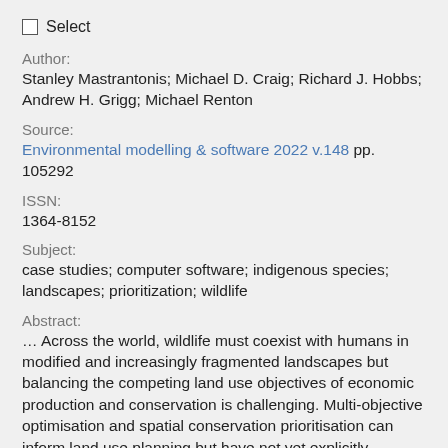Select
Author:
Stanley Mastrantonis; Michael D. Craig; Richard J. Hobbs; Andrew H. Grigg; Michael Renton
Source:
Environmental modelling & software 2022 v.148 pp. 105292
ISSN:
1364-8152
Subject:
case studies; computer software; indigenous species; landscapes; prioritization; wildlife
Abstract:
… Across the world, wildlife must coexist with humans in modified and increasingly fragmented landscapes but balancing the competing land use objectives of economic production and conservation is challenging. Multi-objective optimisation and spatial conservation prioritisation can inform land use planning but have not yet explicitly